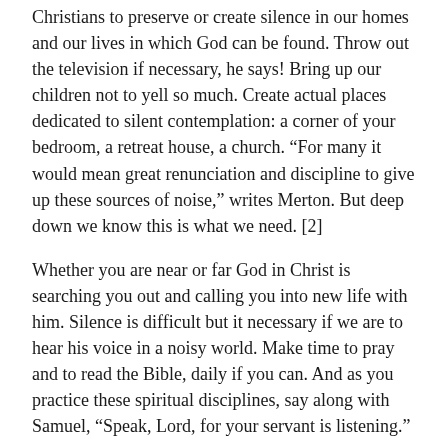Christians to preserve or create silence in our homes and our lives in which God can be found. Throw out the television if necessary, he says! Bring up our children not to yell so much. Create actual places dedicated to silent contemplation: a corner of your bedroom, a retreat house, a church. “For many it would mean great renunciation and discipline to give up these sources of noise,” writes Merton. But deep down we know this is what we need. [2]
Whether you are near or far God in Christ is searching you out and calling you into new life with him. Silence is difficult but it necessary if we are to hear his voice in a noisy world. Make time to pray and to read the Bible, daily if you can. And as you practice these spiritual disciplines, say along with Samuel, “Speak, Lord, for your servant is listening.”
Endnotes